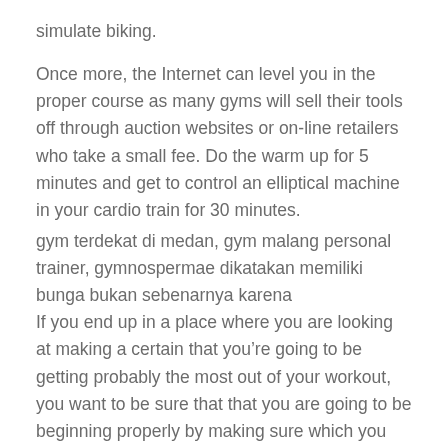simulate biking.
Once more, the Internet can level you in the proper course as many gyms will sell their tools off through auction websites or on-line retailers who take a small fee. Do the warm up for 5 minutes and get to control an elliptical machine in your cardio train for 30 minutes.
gym terdekat di medan, gym malang personal trainer, gymnospermae dikatakan memiliki bunga bukan sebenarnya karena
If you end up in a place where you are looking at making a certain that you’re going to be getting probably the most out of your workout, you want to be sure that that you are going to be beginning properly by making sure which you could put the